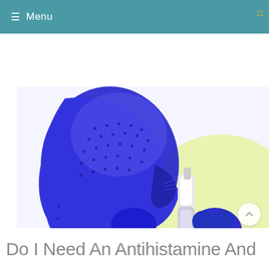≡ Menu
[Figure (illustration): Medical illustration of a blue stylized human head profile using a nasal spray inhaler. The figure is rendered in shades of blue and white with dot pattern on the face area. The background transitions from white to light yellow-green. The person holds a white nasal spray device up to the nose.]
Do I Need An Antihistamine And